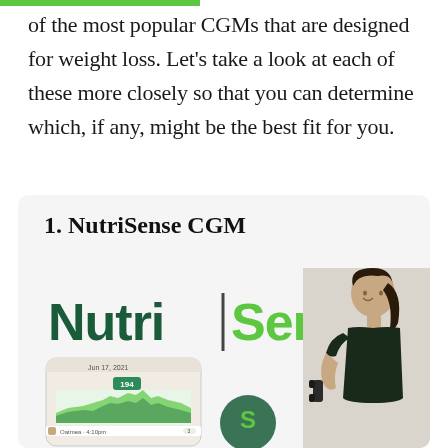of the most popular CGMs that are designed for weight loss. Let's take a look at each of these more closely so that you can determine which, if any, might be the best fit for you.
1. NutriSense CGM
[Figure (photo): NutriSense logo with 'Nutri' in dark green and 'Sense' in bright green, separated by a vertical bar. Alongside a smartphone showing a glucose tracking app with a green chart and a date of Jun 17, 2021, and a woman holding a dumbbell wearing a dark tank top.]